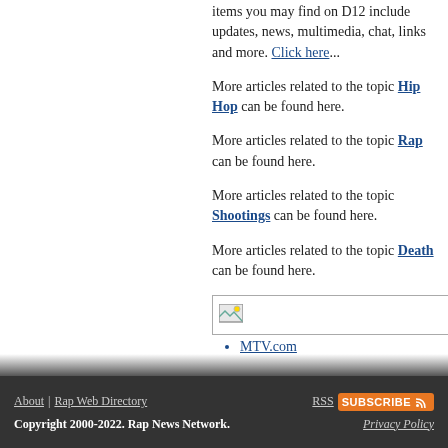items you may find on D12 include updates, news, multimedia, chat, links and more. Click here...
More articles related to the topic Hip Hop can be found here.
More articles related to the topic Rap can be found here.
More articles related to the topic Shootings can be found here.
More articles related to the topic Death can be found here.
[Figure (other): Broken image placeholder box]
MTV.com
Options  Email | Save
<< Prev   Next >>
About | Rap Web Directory   RSS SUBSCRIBE   Copyright 2000-2022. Rap News Network.   Privacy Policy